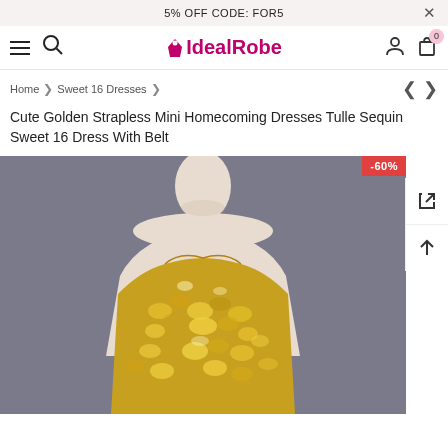5% OFF CODE: FOR5
IdealRobe — navigation bar with hamburger, search, logo, user, cart (0)
Home > Sweet 16 Dresses >
Cute Golden Strapless Mini Homecoming Dresses Tulle Sequin Sweet 16 Dress With Belt
[Figure (photo): Mannequin wearing a strapless golden sequin mini homecoming dress on a gray background. A red -60% discount badge is visible in the upper right of the image.]